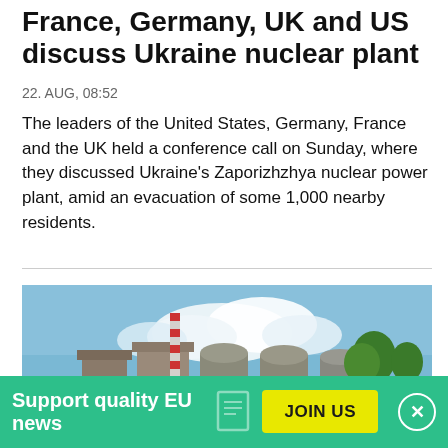France, Germany, UK and US discuss Ukraine nuclear plant
22. AUG, 08:52
The leaders of the United States, Germany, France and the UK held a conference call on Sunday, where they discussed Ukraine's Zaporizhzhya nuclear power plant, amid an evacuation of some 1,000 nearby residents.
[Figure (photo): Photograph of the Zaporizhzhya nuclear power plant showing large industrial buildings with reactor domes, a red-and-white striped chimney stack, trees on the right, and a cloudy blue sky.]
Support quality EU news